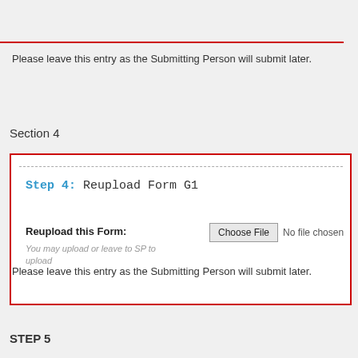Please leave this entry as the Submitting Person will submit later.
Section 4
[Figure (screenshot): Red-bordered box containing Step 4: Reupload Form G1 with a file upload field showing 'Choose File' button and 'No file chosen' text, and helper text 'You may upload or leave to SP to upload']
Please leave this entry as the Submitting Person will submit later.
STEP 5